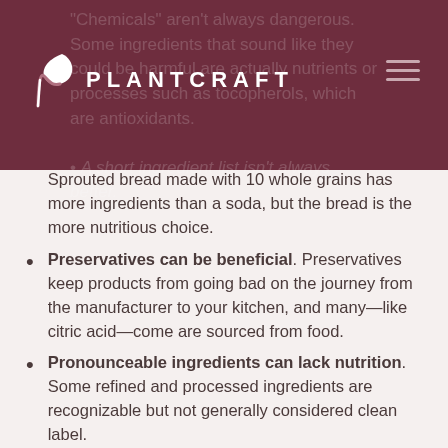PLANTCRAFT
Sprouted bread made with 10 whole grains has more ingredients than a soda, but the bread is the more nutritious choice.
Preservatives can be beneficial. Preservatives keep products from going bad on the journey from the manufacturer to your kitchen, and many—like citric acid—come are sourced from food.
Pronounceable ingredients can lack nutrition. Some refined and processed ingredients are recognizable but not generally considered clean label.
These issues don't mean clean label has no merit; you just need to be smart and aware when you shop. Like “natural” and “made with real ingredients,” saying a food is clean label can create a health halo around some products while excluding others that might be just as good for you or even better.